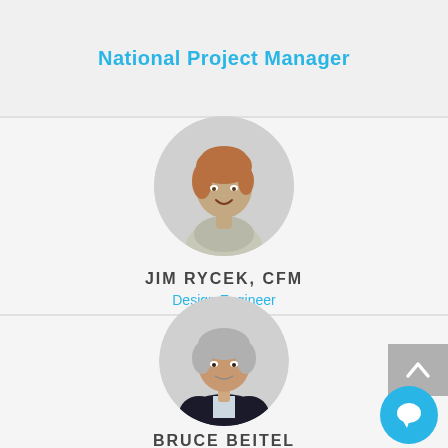National Project Manager
[Figure (photo): Circular portrait photo of Jim Rycek, a young man with reddish-brown hair, wearing a light gray shirt, smiling]
JIM RYCEK, CFM
Design Engineer
[Figure (photo): Circular portrait photo of Bruce Beitel, a middle-aged man with gray hair, wearing a dark suit jacket and light shirt]
BRUCE BEITEL